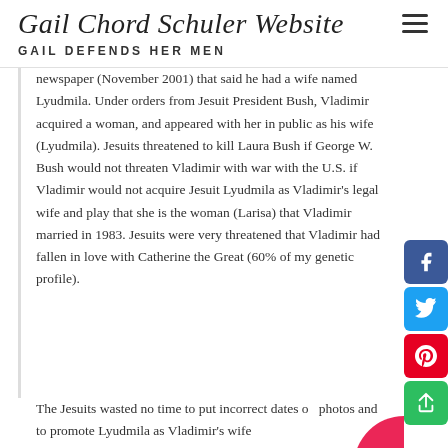Gail Chord Schuler Website
GAIL DEFENDS HER MEN
newspaper (November 2001) that said he had a wife named Lyudmila. Under orders from Jesuit President Bush, Vladimir acquired a woman, and appeared with her in public as his wife (Lyudmila). Jesuits threatened to kill Laura Bush if George W. Bush would not threaten Vladimir with war with the U.S. if Vladimir would not acquire Jesuit Lyudmila as Vladimir's legal wife and play that she is the woman (Larisa) that Vladimir married in 1983. Jesuits were very threatened that Vladimir had fallen in love with Catherine the Great (60% of my genetic profile).
The Jesuits wasted no time to put incorrect dates on photos and to promote Lyudmila as Vladimir's wife (allegedly). They promoted LYUDMILA